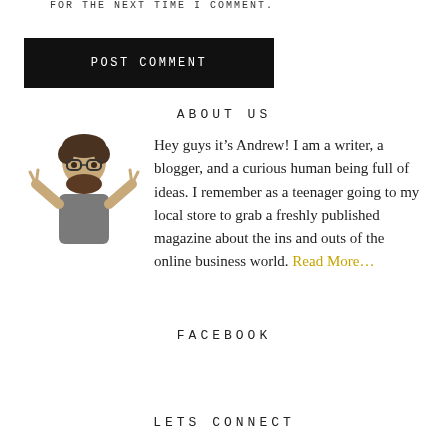FOR THE NEXT TIME I COMMENT.
POST COMMENT
ABOUT US
Hey guys it’s Andrew! I am a writer, a blogger, and a curious human being full of ideas. I remember as a teenager going to my local store to grab a freshly published magazine about the ins and outs of the online business world. Read More…
FACEBOOK
LETS CONNECT